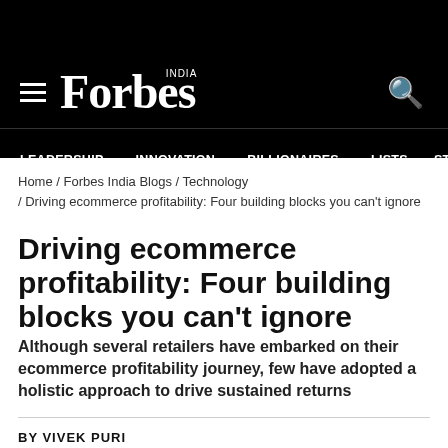Forbes India
LEADERSHIP   INNOVATION   BILLIONAIRES   LISTS   STARTU
Home / Forbes India Blogs / Technology / Driving ecommerce profitability: Four building blocks you can't ignore
Driving ecommerce profitability: Four building blocks you can't ignore
Although several retailers have embarked on their ecommerce profitability journey, few have adopted a holistic approach to drive sustained returns
BY VIVEK PURI